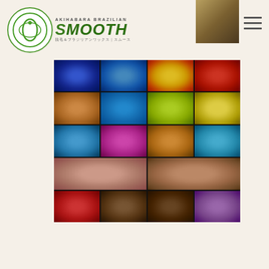AKIHABARA BRAZILIAN SMOOTH - logo and navigation header
[Figure (photo): A blurred grid of colorful product/service thumbnail images arranged in a 4x5 grid with dark backgrounds. Colors include blue, yellow, red, orange, teal, green, purple, pink, and brown tones. The image appears to be a blurred gallery or menu of items.]